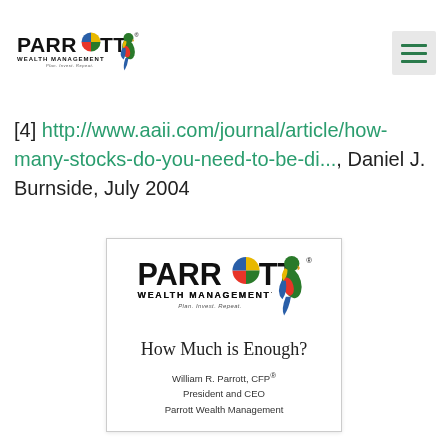Parrott Wealth Management logo and navigation
[4] http://www.aaii.com/journal/article/how-many-stocks-do-you-need-to-be-di..., Daniel J. Burnside, July 2004
[Figure (illustration): Parrott Wealth Management brochure cover showing logo, title 'How Much is Enough?', and author William R. Parrott, CFP, President and CEO, Parrott Wealth Management]